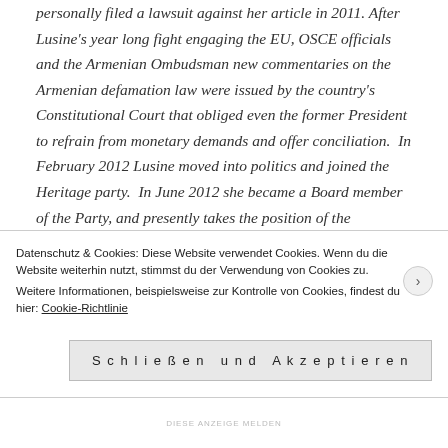personally filed a lawsuit against her article in 2011. After Lusine's year long fight engaging the EU, OSCE officials and the Armenian Ombudsman new commentaries on the Armenian defamation law were issued by the country's Constitutional Court that obliged even the former President to refrain from monetary demands and offer conciliation.  In February 2012 Lusine moved into politics and joined the Heritage party.  In June 2012 she became a Board member of the Party, and presently takes the position of the Coordinator of Party Headquarters (Heritage is an oppositional Parliamentary party, one of three Armenian parties having joined the European Peoples' Party – EPP)
Datenschutz & Cookies: Diese Website verwendet Cookies. Wenn du die Website weiterhin nutzt, stimmst du der Verwendung von Cookies zu.
Weitere Informationen, beispielsweise zur Kontrolle von Cookies, findest du hier: Cookie-Richtlinie
Schließen und Akzeptieren
DIESE ANZEIGE MELDEN